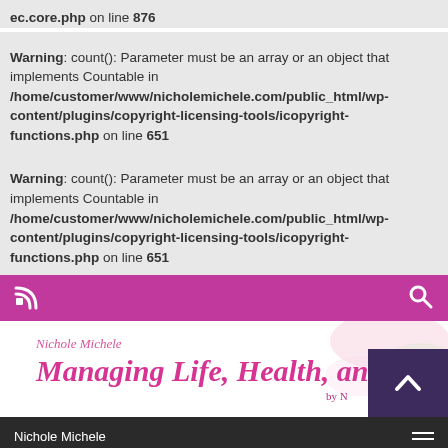ec.core.php on line 876
Warning: count(): Parameter must be an array or an object that implements Countable in /home/customer/www/nicholemichele.com/public_html/wp-content/plugins/copyright-licensing-tools/icopyright-functions.php on line 651
Warning: count(): Parameter must be an array or an object that implements Countable in /home/customer/www/nicholemichele.com/public_html/wp-content/plugins/copyright-licensing-tools/icopyright-functions.php on line 651
[Figure (screenshot): Pink navigation bar with RSS icon on left and search icon on right]
[Figure (screenshot): Website header for Nichole Michele - Managing Life, Health, and Fitness blog with back-to-top button]
Nichole Michele